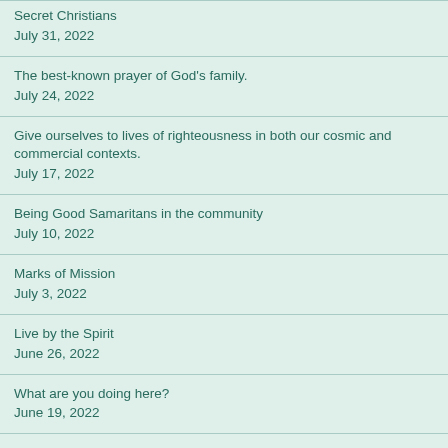Secret Christians
July 31, 2022
The best-known prayer of God's family.
July 24, 2022
Give ourselves to lives of righteousness in both our cosmic and commercial contexts.
July 17, 2022
Being Good Samaritans in the community
July 10, 2022
Marks of Mission
July 3, 2022
Live by the Spirit
June 26, 2022
What are you doing here?
June 19, 2022
The different “persons” of our God
June 12, 2022